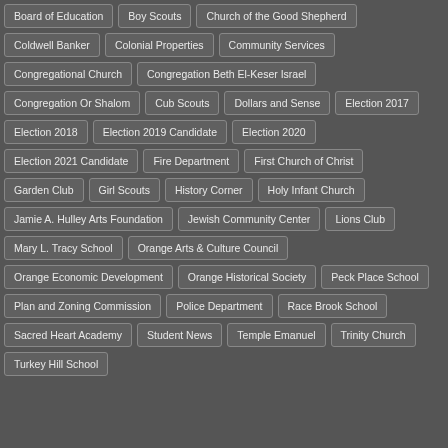Board of Education
Boy Scouts
Church of the Good Shepherd
Coldwell Banker
Colonial Properties
Community Services
Congregational Church
Congregation Beth El-Keser Israel
Congregation Or Shalom
Cub Scouts
Dollars and Sense
Election 2017
Election 2018
Election 2019 Candidate
Election 2020
Election 2021 Candidate
Fire Department
First Church of Christ
Garden Club
Girl Scouts
History Corner
Holy Infant Church
Jamie A. Hulley Arts Foundation
Jewish Community Center
Lions Club
Mary L. Tracy School
Orange Arts & Culture Council
Orange Economic Development
Orange Historical Society
Peck Place School
Plan and Zoning Commission
Police Department
Race Brook School
Sacred Heart Academy
Student News
Temple Emanuel
Trinity Church
Turkey Hill School